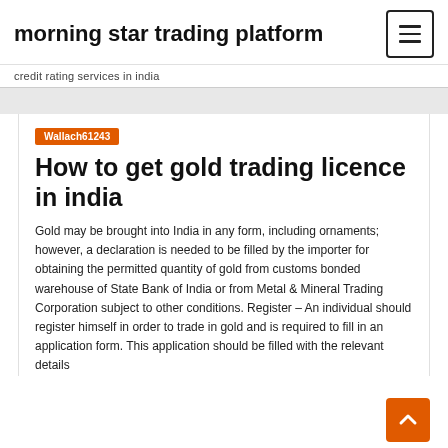morning star trading platform
credit rating services in india
Wallach61243
How to get gold trading licence in india
Gold may be brought into India in any form, including ornaments; however, a declaration is needed to be filled by the importer for obtaining the permitted quantity of gold from customs bonded warehouse of State Bank of India or from Metal & Mineral Trading Corporation subject to other conditions. Register – An individual should register himself in order to trade in gold and is required to fill in an application form. This application should be filled with the relevant details